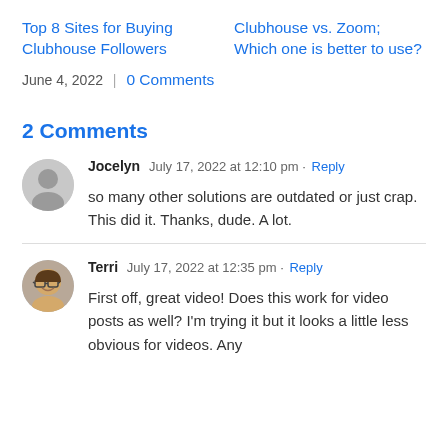Top 8 Sites for Buying Clubhouse Followers
Clubhouse vs. Zoom; Which one is better to use?
June 4, 2022  |  0 Comments
2 Comments
Jocelyn  July 17, 2022 at 12:10 pm · Reply
so many other solutions are outdated or just crap. This did it. Thanks, dude. A lot.
Terri  July 17, 2022 at 12:35 pm · Reply
First off, great video! Does this work for video posts as well? I'm trying it but it looks a little less obvious for videos. Any